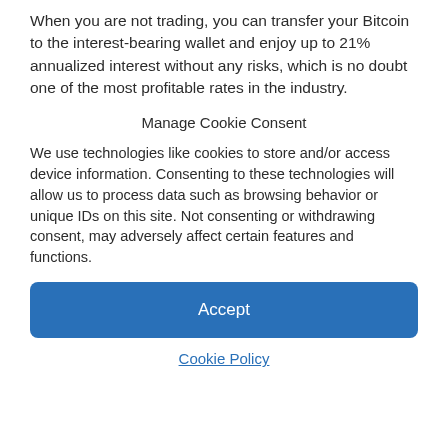When you are not trading, you can transfer your Bitcoin to the interest-bearing wallet and enjoy up to 21% annualized interest without any risks, which is no doubt one of the most profitable rates in the industry.
Manage Cookie Consent
We use technologies like cookies to store and/or access device information. Consenting to these technologies will allow us to process data such as browsing behavior or unique IDs on this site. Not consenting or withdrawing consent, may adversely affect certain features and functions.
Accept
Cookie Policy